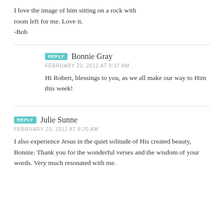I love the image of him sitting on a rock with room left for me. Love it.
-Bob
REPLY  Bonnie Gray
FEBRUARY 23, 2012 AT 9:37 AM
Hi Robert, blessings to you, as we all make our way to Him this week!
REPLY  Julie Sunne
FEBRUARY 23, 2012 AT 8:20 AM
I also experience Jesus in the quiet solitude of His created beauty, Bonnie. Thank you for the wonderful verses and the wisdom of your words. Very much resonated with me.